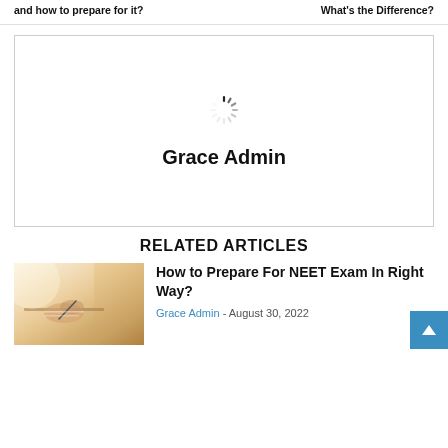and how to prepare for it?   What's the Difference?
[Figure (illustration): Profile box with loading spinner icon and 'Grace Admin' text label below it]
RELATED ARTICLES
[Figure (photo): Person writing in notebook, warm-toned photo]
How to Prepare For NEET Exam In Right Way?
Grace Admin - August 30, 2022